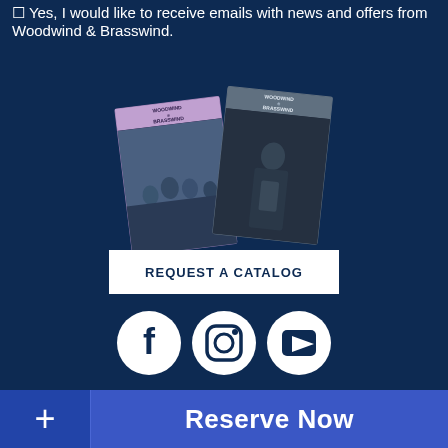Yes, I would like to receive emails with news and offers from Woodwind & Brasswind.
[Figure (photo): Two Woodwind & Brasswind catalog covers overlapping — left shows a group of musicians outdoors, right shows a guitarist in dark setting.]
REQUEST A CATALOG
[Figure (infographic): Three white circular social media icons for Facebook, Instagram, and YouTube on dark blue background.]
Customer Service
Contact Us
FAQs
Reserve Now